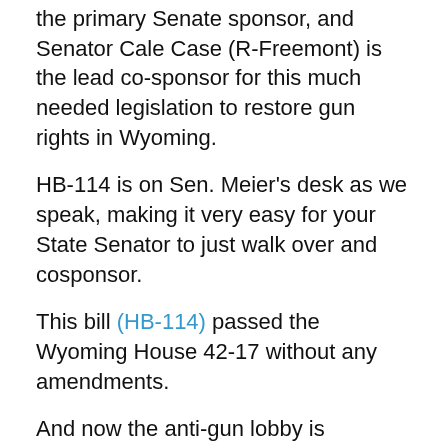the primary Senate sponsor, and Senator Cale Case (R-Freemont) is the lead co-sponsor for this much needed legislation to restore gun rights in Wyoming.
HB-114 is on Sen. Meier's desk as we speak, making it very easy for your State Senator to just walk over and cosponsor.
This bill (HB-114) passed the Wyoming House 42-17 without any amendments.
And now the anti-gun lobby is cranking up the pressure on the Senate — demanding that they not advance this bill.
As we witnessed in the House, the lobbyists have a stack of poisonous amendments ready to file in the Senate.
If the gun control crowd is successful, HB-114 will die a death by a thousand cuts in the Senate.